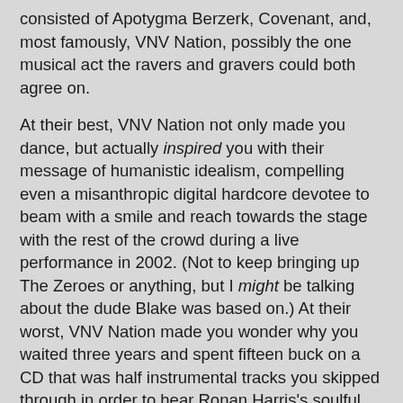consisted of Apotygma Berzerk, Covenant, and, most famously, VNV Nation, possibly the one musical act the ravers and gravers could both agree on.
At their best, VNV Nation not only made you dance, but actually inspired you with their message of humanistic idealism, compelling even a misanthropic digital hardcore devotee to beam with a smile and reach towards the stage with the rest of the crowd during a live performance in 2002. (Not to keep bringing up The Zeroes or anything, but I might be talking about the dude Blake was based on.) At their worst, VNV Nation made you wonder why you waited three years and spent fifteen buck on a CD that was half instrumental tracks you skipped through in order to hear Ronan Harris's soulful, lilting vocals and pensive (if not increasingly familiar) lyrics. (Wait. VNV Nation is still active. Why do I refer to them in the past tense? Someone else's review of their 2013 album Transnational helps explain why.)
"Further" is vintage VNV, another song I fell in love with after hearing it for the first time during a live performance, and possibly one of the most depressing tunes ever committed to